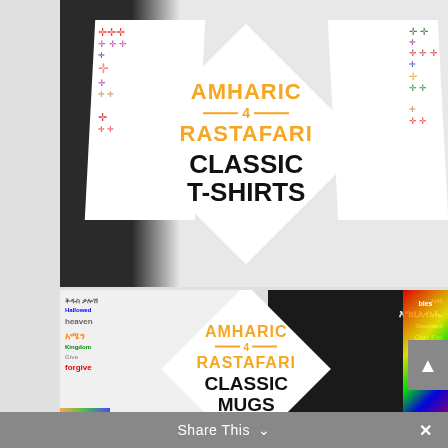[Figure (photo): Top product image: Person wearing white t-shirts with colorful Ethiopian cross designs. A white diamond in the center displays orange text reading AMHARIC 4 RASTAFARI and black text CLASSIC T-SHIRTS.]
[Figure (photo): Bottom product image: Mugs with Amharic/English prayer text. White mug on left with colorful word-cloud prayer, dark mug on right with white Amharic text. Diamond center shows orange text AMHARIC 4 RASTAFARI and black text CLASSIC MUGS.]
Share This